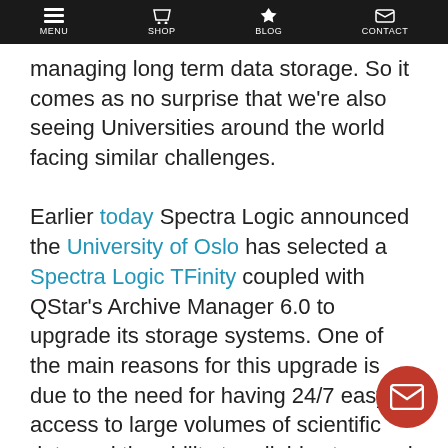MENU | SHOP | BLOG | CONTACT
managing long term data storage. So it comes as no surprise that we're also seeing Universities around the world facing similar challenges.

Earlier today Spectra Logic announced the University of Oslo has selected a Spectra Logic TFinity coupled with QStar's Archive Manager 6.0 to upgrade its storage systems. One of the main reasons for this upgrade is due to the need for having 24/7 easy access to large volumes of scientific data and the ability to reliably store and maintain the data for the NorStore project the university hosts. The Media Lifecycle Management (MLM) and Data Integrity Verification capabilities of Spectra Logic's tape libraries, along with their low